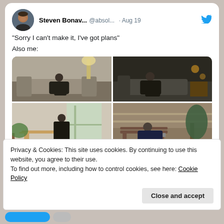Steven Bonav... @absol... · Aug 19
"Sorry I can't make it, I've got plans"
Also me:
[Figure (photo): 2x2 grid of four photos showing a person relaxing at home in various indoor and outdoor settings]
39   8.296
Privacy & Cookies: This site uses cookies. By continuing to use this website, you agree to their use.
To find out more, including how to control cookies, see here: Cookie Policy
Close and accept